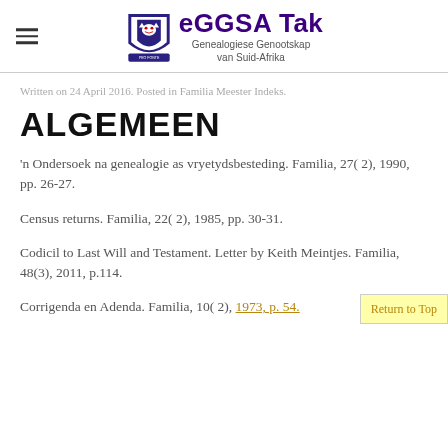eGGSA Tak Genealogiese Genootskap van Suid-Afrika
Written on 24 April 2016. Posted in Familia Meester Indeks.
ALGEMEEN
'n Ondersoek na genealogie as vryetydsbesteding. Familia, 27( 2), 1990, pp. 26-27.
Census returns. Familia, 22( 2), 1985, pp. 30-31.
Codicil to Last Will and Testament. Letter by Keith Meintjes. Familia, 48(3), 2011, p.114.
Corrigenda en Adenda. Familia, 10( 2), 1973, p. 54.